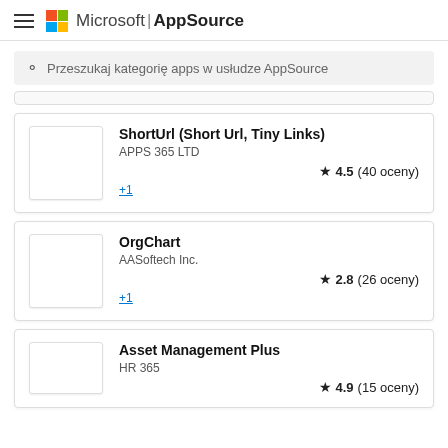Microsoft | AppSource
Przeszukaj kategorię apps w usłudze AppSource
ShortUrl (Short Url, Tiny Links) | APPS 365 LTD | ★ 4.5 (40 oceny) | +1
OrgChart | AASoftech Inc. | ★ 2.8 (26 oceny) | +1
Asset Management Plus | HR 365 | ★ 4.9 (15 oceny)